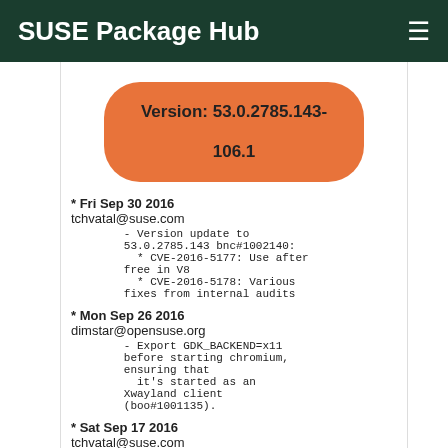SUSE Package Hub
[Figure (other): Orange rounded rectangle badge displaying version number: Version: 53.0.2785.143-106.1]
* Fri Sep 30 2016
tchvatal@suse.com
    - Version update to 53.0.2785.143 bnc#1002140:
      * CVE-2016-5177: Use after free in V8
      * CVE-2016-5178: Various fixes from internal audits
* Mon Sep 26 2016
dimstar@opensuse.org
    - Export GDK_BACKEND=x11 before starting chromium, ensuring that
      it's started as an Xwayland client (boo#1001135).
* Sat Sep 17 2016
tchvatal@suse.com
    - Apply sandbox patch to fix crashers on tumbleweed